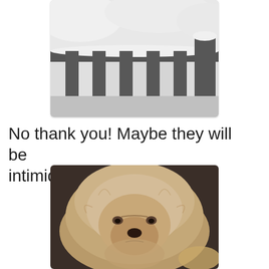[Figure (photo): A snowy outdoor scene viewed through dark grey wooden fence/railing slats with snow accumulated on top]
No thank you! Maybe they will be intimidated by this look...
[Figure (photo): Close-up photo of a fluffy Shih Tzu or Pekingese dog with a grumpy or stern expression, tan/cream colored fur]